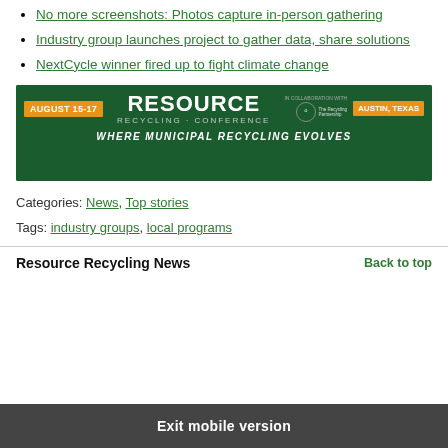No more screenshots: Photos capture in-person gathering
Industry group launches project to gather data, share solutions
NextCycle winner fired up to fight climate change
[Figure (illustration): Resource Recycling Conference banner: August 15-17, Austin, Texas. Green background with orange accent bars. Tagline: WHERE MUNICIPAL RECYCLING EVOLVES. In collaboration with The Recycling Partnership.]
Categories: News, Top stories
Tags: industry groups, local programs
Resource Recycling News
Back to top
Exit mobile version